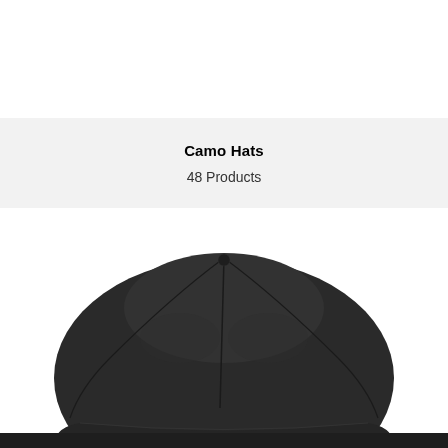Camo Hats
48 Products
[Figure (photo): Close-up top-down view of a dark charcoal/black baseball cap showing the crown seams and brim, cropped at the bottom of the page]